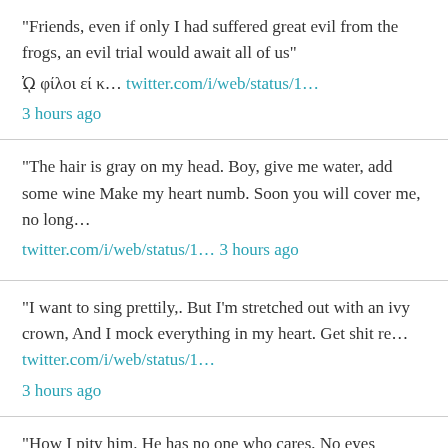“Friends, even if only I had suffered great evil from the frogs, an evil trial would await all of us” Ὠ φίλοι εί κ... twitter.com/i/web/status/1... 3 hours ago
“The hair is gray on my head. Boy, give me water, add some wine Make my heart numb. Soon you will cover me, no long... twitter.com/i/web/status/1... 3 hours ago
"I want to sing prettily,. But I’m stretched out with an ivy crown, And I mock everything in my heart. Get shit re... twitter.com/i/web/status/1... 3 hours ago
"How I pity him. He has no one who cares, No eyes